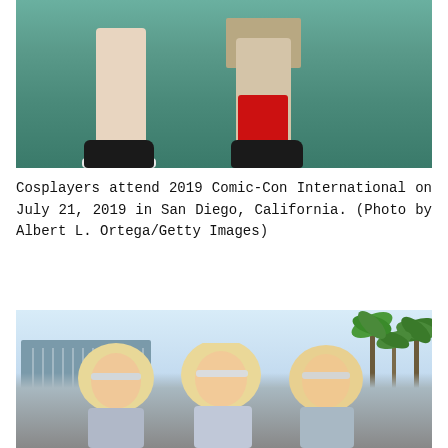[Figure (photo): Close-up photo showing the legs and feet of two people standing on a teal/blue patterned carpet. One person wears black sneakers with white soles; the other wears khaki shorts, red socks with blue trim, and black shoes.]
Cosplayers attend 2019 Comic-Con International on July 21, 2019 in San Diego, California. (Photo by Albert L. Ortega/Getty Images)
[Figure (photo): Three people with blonde wigs and silver visors posing outdoors in front of palm trees and a convention center building under a clear sky, surrounded by a crowd.]